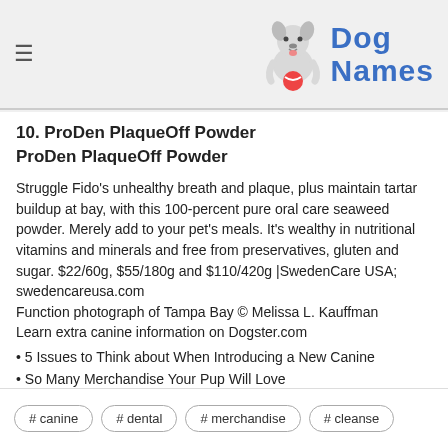Dog Names
10. ProDen PlaqueOff Powder
ProDen PlaqueOff Powder
Struggle Fido’s unhealthy breath and plaque, plus maintain tartar buildup at bay, with this 100-percent pure oral care seaweed powder. Merely add to your pet's meals. It's wealthy in nutritional vitamins and minerals and free from preservatives, gluten and sugar. $22/60g, $55/180g and $110/420g |SwedenCare USA; swedencareusa.com
Function photograph of Tampa Bay © Melissa L. Kauffman
Learn extra canine information on Dogster.com
• 5 Issues to Think about When Introducing a New Canine
• So Many Merchandise Your Pup Will Love
• Meet Bolivia’s Canine Savior, Fernando “Ferchy” Kushner
#canine  #dental  #merchandise  #cleanse